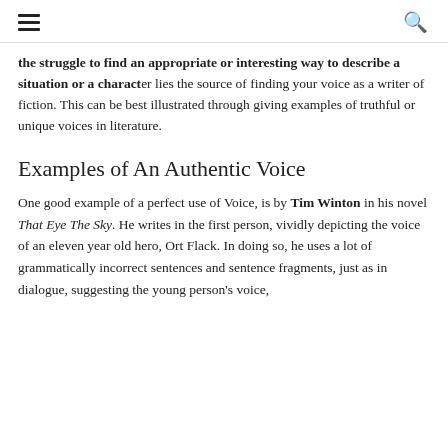≡ 🔍
the struggle to find an appropriate or interesting way to describe a situation or a character lies the source of finding your voice as a writer of fiction. This can be best illustrated through giving examples of truthful or unique voices in literature.
Examples of An Authentic Voice
One good example of a perfect use of Voice, is by Tim Winton in his novel That Eye The Sky. He writes in the first person, vividly depicting the voice of an eleven year old hero, Ort Flack. In doing so, he uses a lot of grammatically incorrect sentences and sentence fragments, just as in dialogue, suggesting the young person's voice,